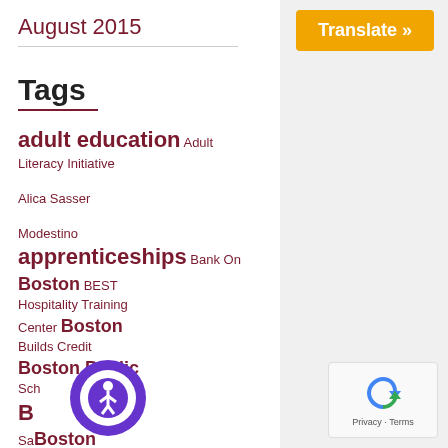August 2015
[Figure (other): Orange Translate button in top right]
Tags
adult education Adult Literacy Initiative Alica Sasser Modestino apprenticeships Bank On Boston BEST Hospitality Training Center Boston Builds Credit Boston Public Schools Boston Saves Boston Tax Help